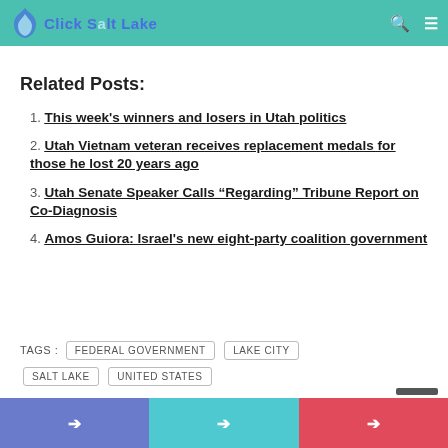Click Salt Lake
Related Posts:
1. This week's winners and losers in Utah politics
2. Utah Vietnam veteran receives replacement medals for those he lost 20 years ago
3. Utah Senate Speaker Calls “Regarding” Tribune Report on Co-Diagnosis
4. Amos Guiora: Israel's new eight-party coalition government
TAGS : FEDERAL GOVERNMENT  LAKE CITY  SALT LAKE  UNITED STATES
Facebook  Twitter  YouTube